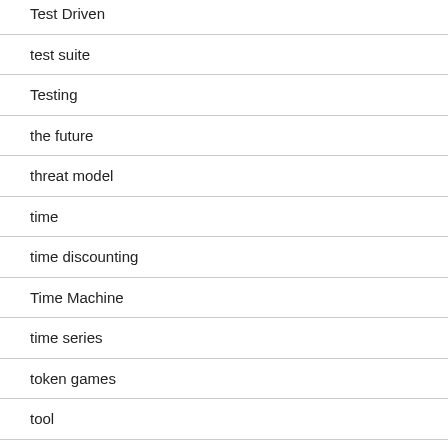Test Driven
test suite
Testing
the future
threat model
time
time discounting
Time Machine
time series
token games
tool